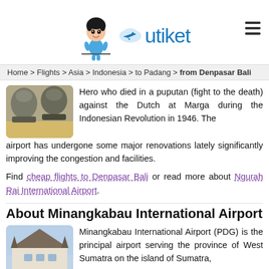utiket
Home > Flights > Asia > Indonesia > to Padang > from Denpasar Bali
[Figure (photo): Stone statue/sculpture at Ngurah Rai airport Bali]
Hero who died in a puputan (fight to the death) against the Dutch at Marga during the Indonesian Revolution in 1946. The airport has undergone some major renovations lately significantly improving the congestion and facilities.
Find cheap flights to Denpasar Bali or read more about Ngurah Rai International Airport.
About Minangkabau International Airport
[Figure (photo): Minangkabau International Airport building with traditional roof]
Minangkabau International Airport (PDG) is the principal airport serving the province of West Sumatra on the island of Sumatra,